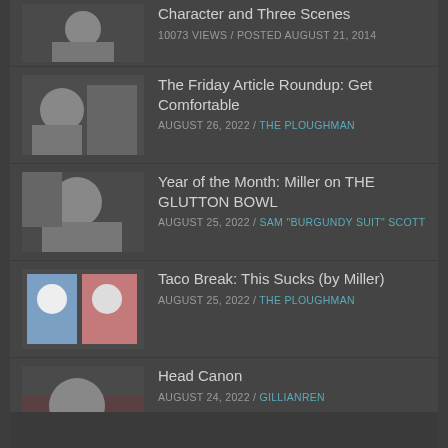Character and Three Scenes
10073 VIEWS / POSTED AUGUST 21, 2014
The Friday Article Roundup: Get Comfortable
AUGUST 26, 2022 / THE PLOUGHMAN
Year of the Month: Miller on THE GLUTTON BOWL
AUGUST 25, 2022 / SAM "BURGUNDY SUIT" SCOTT
Taco Break: This Sucks (by Miller)
AUGUST 25, 2022 / THE PLOUGHMAN
Head Canon
AUGUST 24, 2022 / GILLIANREN
Film on the Internet: DEVIL IN A BLUE DRESS
AUGUST 24, 2022 / ZOEZ